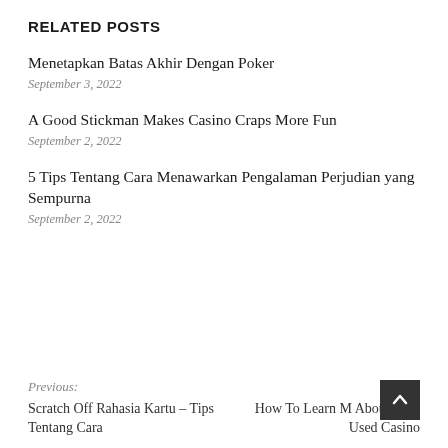RELATED POSTS
Menetapkan Batas Akhir Dengan Poker
September 3, 2022
A Good Stickman Makes Casino Craps More Fun
September 2, 2022
5 Tips Tentang Cara Menawarkan Pengalaman Perjudian yang Sempurna
September 2, 2022
Previous: Scratch Off Rahasia Kartu – Tips Tentang Cara
Next: How To Learn M About Your Used Casino